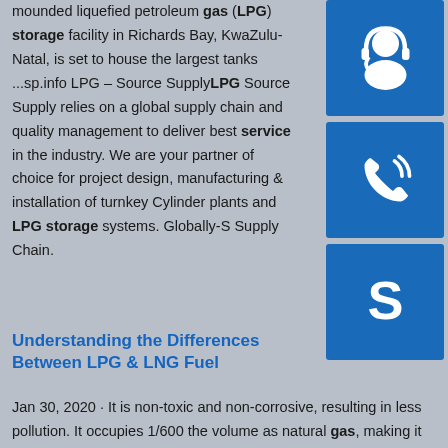mounded liquefied petroleum gas (LPG) storage facility in Richards Bay, KwaZulu-Natal, is set to house the largest tanks ...sp.info LPG – Source SupplyLPG Source Supply relies on a global supply chain and quality management to deliver best service in the industry. We are your partner of choice for project design, manufacturing & installation of turnkey Cylinder plants and LPG storage systems. Globally-Supply Chain.
[Figure (illustration): Blue square icon with white headset/customer support symbol]
[Figure (illustration): Blue square icon with white telephone/call symbol]
[Figure (illustration): Blue square icon with white Skype logo symbol]
Understanding the Differences Between LPG & LNG Fuel
Jan 30, 2020 · It is non-toxic and non-corrosive, resulting in less pollution. It occupies 1/600 the volume as natural gas, making it much more cost-effective for storage and transportation. CNG vs. LNG Fuel. While liquefied natural gas and compressed natural gas are similar, their delivery and